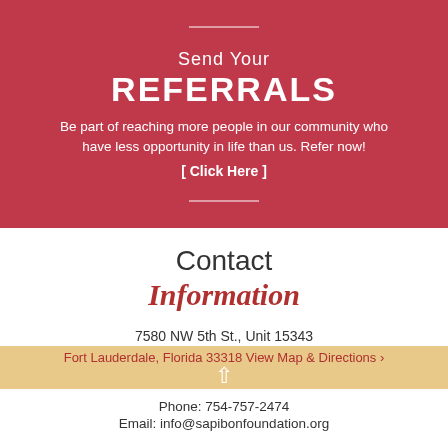Send Your REFERRALS
Be part of reaching more people in our community who have less opportunity in life than us. Refer now!
[ Click Here ]
Contact Information
7580 NW 5th St., Unit 15343
Fort Lauderdale, Florida 33318 View Map & Directions ›
Phone: 754-757-2474
Email: info@sapibonfoundation.org